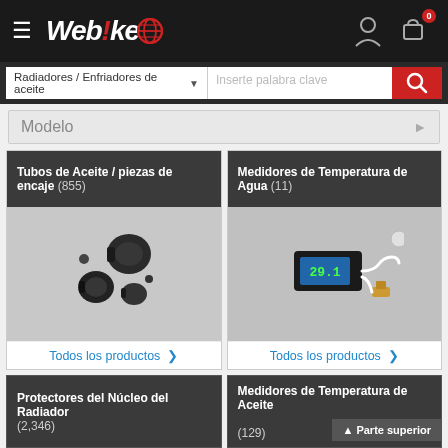[Figure (logo): Webike logo with globe icon on dark header bar, hamburger menu icon, user icon, and cart icon with badge 0]
Radiadores / Enfriadores de aceite ▾   Inserte palabra clave
Modelo
Tubos de Aceite / piezas de encaje (855)
[Figure (photo): Black metal oil tube clamps/fittings on grey background]
Todos los productos >
Medidores de Temperatura de Agua  (11)
[Figure (photo): Digital water temperature gauge with white cable and brass sensor on grey background]
Todos los productos >
Protectores del Núcleo del Radiador (2,346)
Medidores de Temperatura de Aceite  (129)
▲ Parte superior